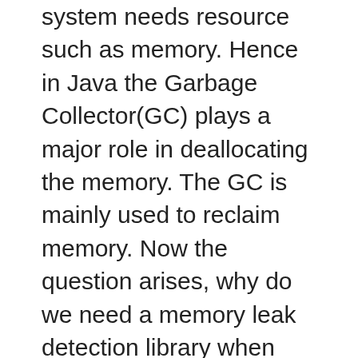system needs resource such as memory. Hence in Java the Garbage Collector(GC) plays a major role in deallocating the memory. The GC is mainly used to reclaim memory. Now the question arises, why do we need a memory leak detection library when GC is already present. The answer is sometimes the developers makes programming mistakes and that leads to inhibit the GC to collect the objects that are of no use and mark them as useful objects.
The GC starts from one point(root) and marks active to all the objects that holds references from GC root and the objects which are not marked are wiped out of